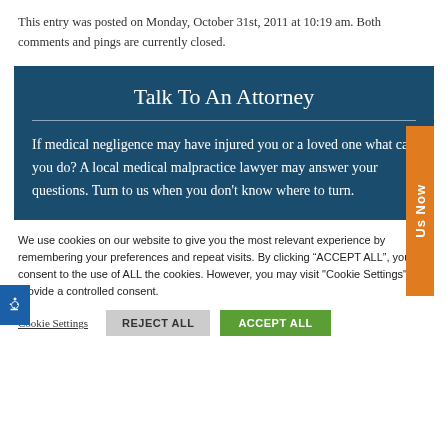This entry was posted on Monday, October 31st, 2011 at 10:19 am. Both comments and pings are currently closed.
Talk To An Attorney
If medical negligence may have injured you or a loved one what can you do? A local medical malpractice lawyer may answer your questions. Turn to us when you don't know where to turn.
We use cookies on our website to give you the most relevant experience by remembering your preferences and repeat visits. By clicking "ACCEPT ALL", you consent to the use of ALL the cookies. However, you may visit "Cookie Settings" to provide a controlled consent.
Cookie Settings   REJECT ALL   ACCEPT ALL